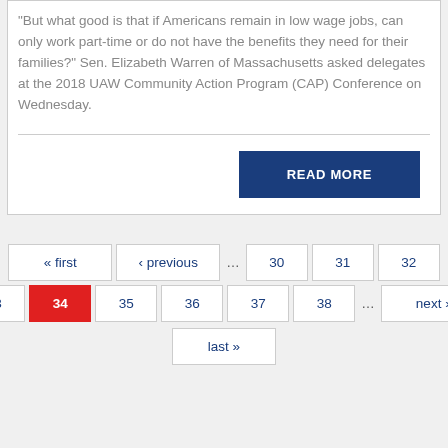"But what good is that if Americans remain in low wage jobs, can only work part-time or do not have the benefits they need for their families?" Sen. Elizabeth Warren of Massachusetts asked delegates at the 2018 UAW Community Action Program (CAP) Conference on Wednesday.
READ MORE
« first ‹ previous … 30 31 32 33 34 35 36 37 38 … next › last »